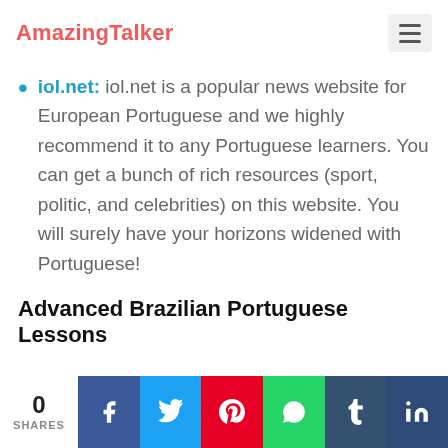AmazingTalker
iol.net: iol.net is a popular news website for European Portuguese and we highly recommend it to any Portuguese learners. You can get a bunch of rich resources (sport, politic, and celebrities) on this website. You will surely have your horizons widened with Portuguese!
Advanced Brazilian Portuguese Lessons
0 SHARES | Facebook | Twitter | Pinterest | WhatsApp | Tumblr | LinkedIn